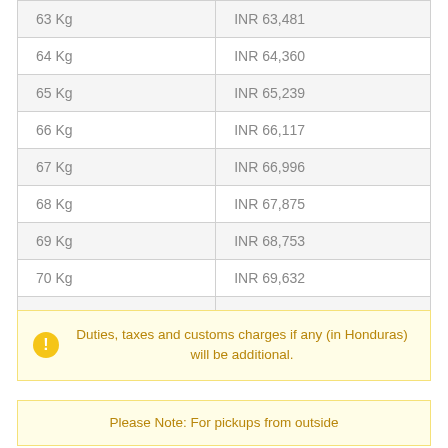| Weight | Price |
| --- | --- |
| 63 Kg | INR 63,481 |
| 64 Kg | INR 64,360 |
| 65 Kg | INR 65,239 |
| 66 Kg | INR 66,117 |
| 67 Kg | INR 66,996 |
| 68 Kg | INR 67,875 |
| 69 Kg | INR 68,753 |
| 70 Kg | INR 69,632 |
| 71 Kg + | INR 790 Per Kg |
Duties, taxes and customs charges if any (in Honduras) will be additional.
Please Note: For pickups from outside